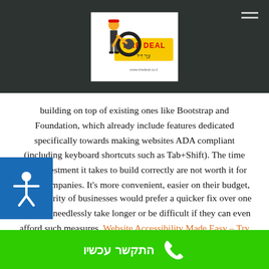[Figure (logo): Tire Deal logo with cartoon mechanic character holding a tire, on white background, centered in dark header]
building on top of existing ones like Bootstrap and Foundation, which already include features dedicated specifically towards making websites ADA compliant (including keyboard shortcuts such as Tab+Shift). The time and investment it takes to build correctly are not worth it for many companies. It's more convenient, easier on their budget, and ultimately less reliable than a custom solution.
The majority of businesses would prefer a quicker fix over one that may needlessly take longer or be difficult if they can even afford such measures. Website Accessibility Made Easy – Try Now Its Free
התקשר עכשיו